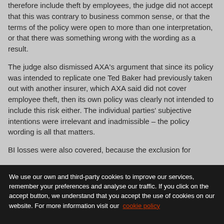therefore include theft by employees, the judge did not accept that this was contrary to business common sense, or that the terms of the policy were open to more than one interpretation, or that there was something wrong with the wording as a result.
The judge also dismissed AXA's argument that since its policy was intended to replicate one Ted Baker had previously taken out with another insurer, which AXA said did not cover employee theft, then its own policy was clearly not intended to include this risk either. The individual parties' subjective intentions were irrelevant and inadmissible – the policy wording is all that matters.
BI losses were also covered, because the exclusion for
We use our own and third-party cookies to improve our services, remember your preferences and analyse our traffic. If you click on the accept button, we understand that you accept the use of cookies on our website. For more information visit our cookie policy